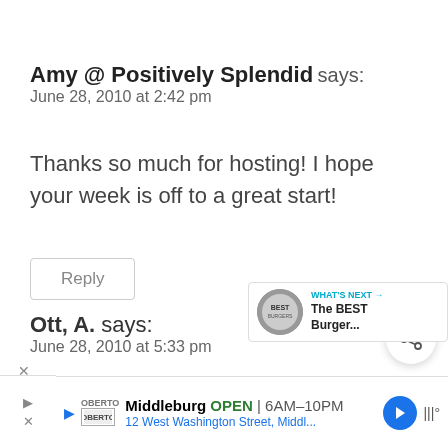Amy @ Positively Splendid says:
June 28, 2010 at 2:42 pm
Thanks so much for hosting! I hope your week is off to a great start!
Reply
WHAT'S NEXT → The BEST Burger...
Ott, A. says:
June 28, 2010 at 5:33 pm
Middleburg OPEN | 6AM–10PM 12 West Washington Street, Middl...